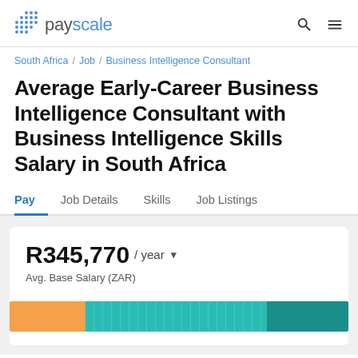[Figure (logo): PayScale logo with grid dot pattern and blue text]
South Africa / Job / Business Intelligence Consultant
Average Early-Career Business Intelligence Consultant with Business Intelligence Skills Salary in South Africa
Pay | Job Details | Skills | Job Listings
R345,770 / year ▾
Avg. Base Salary (ZAR)